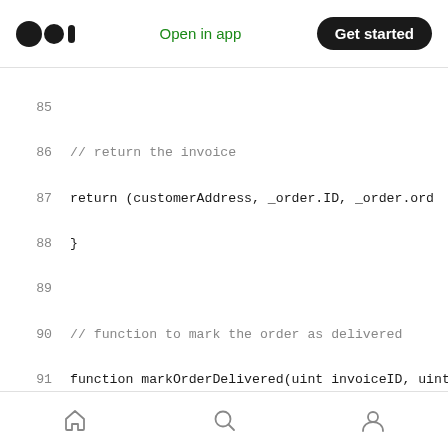Medium app header — Open in app | Get started
Code listing lines 85–100: Solidity smart contract code showing getInvoice and markOrderDelivered functions
Bottom navigation bar with home, search, and profile icons